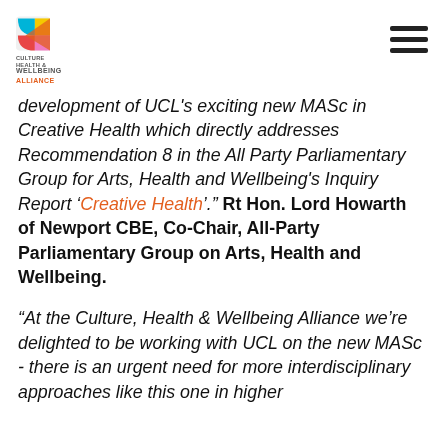[Figure (logo): Culture Health & Wellbeing Alliance logo with colourful geometric shapes and organisation name]
development of UCL's exciting new MASc in Creative Health which directly addresses Recommendation 8 in the All Party Parliamentary Group for Arts, Health and Wellbeing's Inquiry Report 'Creative Health'." Rt Hon. Lord Howarth of Newport CBE, Co-Chair, All-Party Parliamentary Group on Arts, Health and Wellbeing.
"At the Culture, Health & Wellbeing Alliance we're delighted to be working with UCL on the new MASc - there is an urgent need for more interdisciplinary approaches like this one in higher